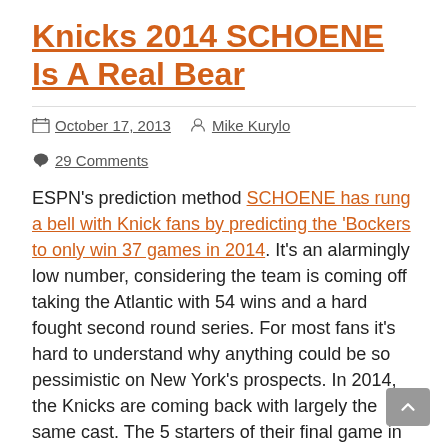Knicks 2014 SCHOENE Is A Real Bear
October 17, 2013  Mike Kurylo  29 Comments
ESPN's prediction method SCHOENE has rung a bell with Knick fans by predicting the 'Bockers to only win 37 games in 2014. It's an alarmingly low number, considering the team is coming off taking the Atlantic with 54 wins and a hard fought second round series. For most fans it's hard to understand why anything could be so pessimistic on New York's prospects. In 2014, the Knicks are coming back with largely the same cast. The 5 starters of their final game in 2013, 'Melo, Chandler, Felton, Shumpert, and Prigioni all will be in orange and blue come November, as will 5th man J.R. Smith, backup center Kenyon Martin, and even the oft-injured Amar'e Stoudemire.